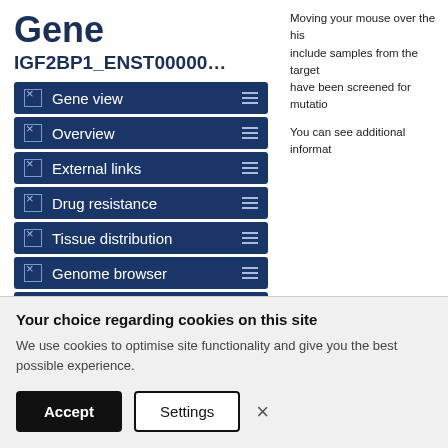Gene
IGF2BP1_ENST00000…
Gene view
Overview
External links
Drug resistance
Tissue distribution
Genome browser
Mutation distribution
Moving your mouse over the his include samples from the target have been screened for mutatio
You can see additional informat
| Tissue | Point M | % Mutated |
| --- | --- | --- |
| Adrenal gland |  |  |
Your choice regarding cookies on this site
We use cookies to optimise site functionality and give you the best possible experience.
Accept  Settings  ×